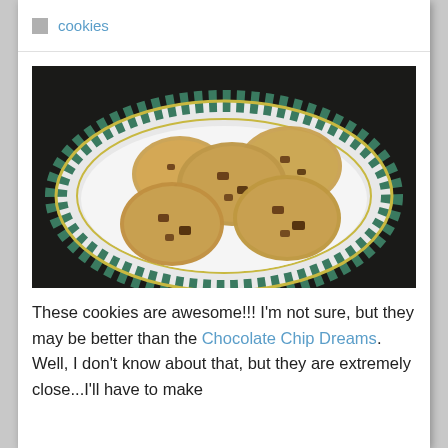cookies
[Figure (photo): Chocolate chip cookies on a decorative plate with teal lattice pattern border on a dark background]
These cookies are awesome!!! I'm not sure, but they may be better than the Chocolate Chip Dreams.  Well, I don't know about that, but they are extremely close...I'll have to make them again sometime.